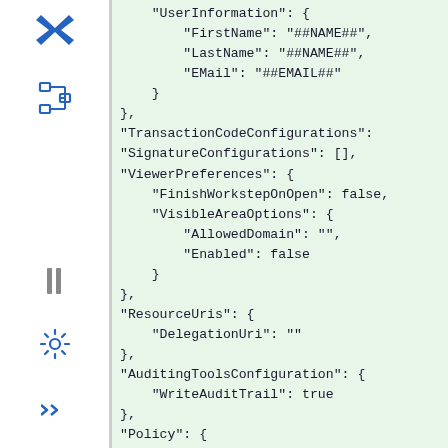[Figure (screenshot): Sidebar with icons including Confluence-style X logo, tree/hierarchy icon, pause icon, gear/settings icon, and chevron/arrows icon]
"UserInformation": {
    "FirstName": "##NAME##",
    "LastName": "##NAME##",
    "EMail": "##EMAIL##"
},
"TransactionCodeConfigurations":
"SignatureConfigurations": [],
"ViewerPreferences": {
    "FinishWorkstepOnOpen": false,
    "VisibleAreaOptions": {
        "AllowedDomain": "",
        "Enabled": false
    }
},
"ResourceUris": {
    "DelegationUri": ""
},
"AuditingToolsConfiguration": {
    "WriteAuditTrail": true
},
"Policy": {
    "GeneralPolicies": {